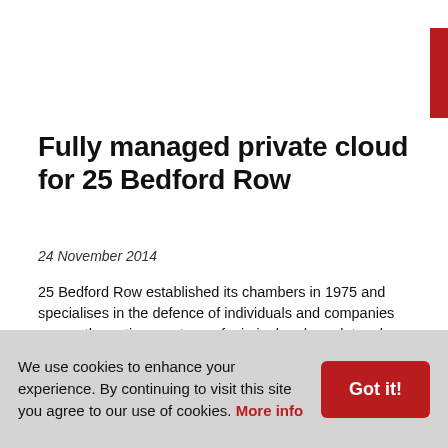Fully managed private cloud for 25 Bedford Row
24 November 2014
25 Bedford Row established its chambers in 1975 and specialises in the defence of individuals and companies across the entire spectrum of criminal and regulatory law, including fraud, human rights and civil liberties.
With the increasing use of BYOD and staff requiring ‘anytime, anywhere’ access to data and systems, the London- based practice had to ensure it met the needs of its 68 barristers and 10 support staff. Due to the fast evolution of the IT industry, it also wanted a way to keep up to date with the latest software and security. Cloud offered the way
We use cookies to enhance your experience. By continuing to visit this site you agree to our use of cookies. More info